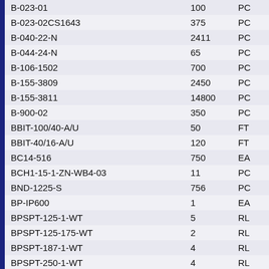| Item | Quantity | Unit |
| --- | --- | --- |
| B-023-01 | 100 | PC |
| B-023-02CS1643 | 375 | PC |
| B-040-22-N | 2411 | PC |
| B-044-24-N | 65 | PC |
| B-106-1502 | 700 | PC |
| B-155-3809 | 2450 | PC |
| B-155-3811 | 14800 | PC |
| B-900-02 | 350 | PC |
| BBIT-100/40-A/U | 50 | FT |
| BBIT-40/16-A/U | 120 | FT |
| BC14-516 | 750 | EA |
| BCH1-15-1-ZN-WB4-03 | 11 | PC |
| BND-1225-S | 756 | PC |
| BP-IP600 | 1 | EA |
| BPSPT-125-1-WT | 5 | RL |
| BPSPT-125-175-WT | 2 | RL |
| BPSPT-187-1-WT | 4 | RL |
| BPSPT-250-1-WT | 4 | RL |
| BPSPT-375-1-WT | 2 | RL |
| BPTL-16-423 | 4 | RL |
| BPTM-120/50-A/U | 100 | FT |
| BPTM-15/6-A/U | 100 | FT |
| BPTM-30/12-A/U | 68 | FT |